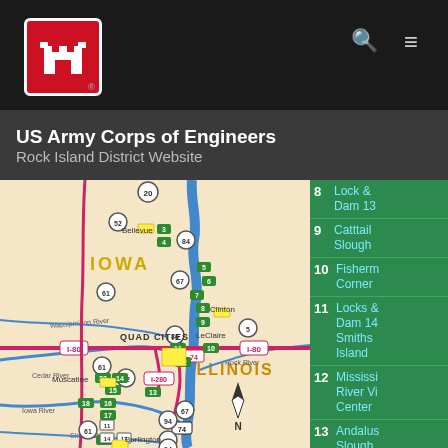US Army Corps of Engineers Rock Island District Website
[Figure (map): Road and river map showing Iowa and Illinois regions including Quad Cities, Clinton, Muscatine, Burlington areas with Mississippi River and numbered recreation/lock sites marked in green highway signs. Features roads including I-80, I-280, I-74, highways 20, 52, 84, 61, 67, 92, 34, 74, rivers including Cedar River, Iowa River, Wapsipinicon River, Rock River, Skunk River.]
8 Lock & Dam 13
9 Catttail Slough
10 Fisherman Corner
11 Locks & Dam 14 Smiths Island
12 Mississippi River Visitor Center
13 Andalusia Slough
14 Clark's